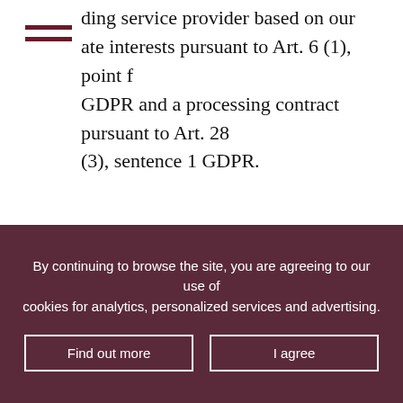ding service provider based on our ate interests pursuant to Art. 6 (1), point f GDPR and a processing contract pursuant to Art. 28 (3), sentence 1 GDPR.
The sending service provider may use the data of the recipients in pseudonymised form, i.e. with no assignment to a user, to optimise or improve its own services, for example for the technical
By continuing to browse the site, you are agreeing to our use of cookies for analytics, personalized services and advertising.